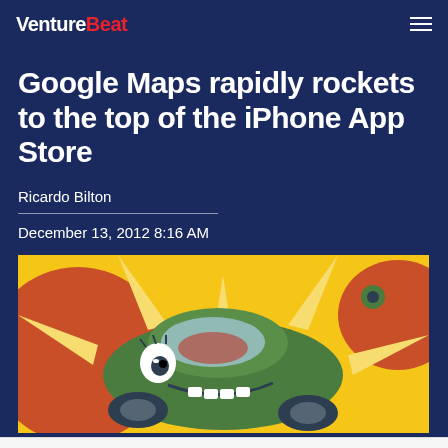VentureBeat
Google Maps rapidly rockets to the top of the iPhone App Store
Ricardo Bilton
December 13, 2012 8:16 AM
[Figure (illustration): Comic-style illustration of a green cartoon car crashing, with yellow and red explosion effects in the background]
Navigation bar with home, share, mail, calendar, and profile icons